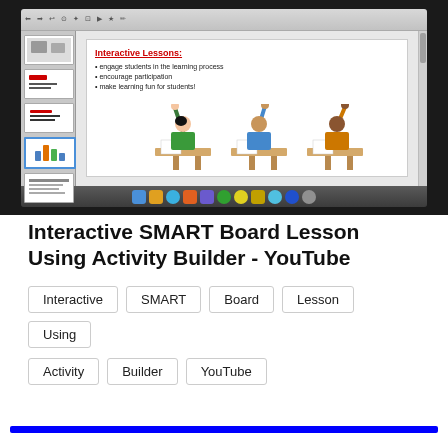[Figure (screenshot): Screenshot of a Mac computer showing a SMART Board interactive lesson application. The slide displays 'Interactive Lessons:' in red with bullet points: 'engage students in the learning process', 'encourage participation', 'make learning fun for students!'. Three cartoon children with raised hands are shown seated at desks. A sidebar shows slide thumbnails. The Mac dock is visible at the bottom.]
Interactive SMART Board Lesson Using Activity Builder - YouTube
Interactive
SMART
Board
Lesson
Using
Activity
Builder
YouTube